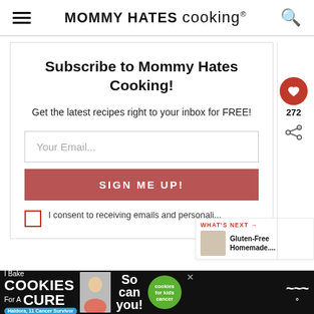MOMMY HATES cooking®
Subscribe to Mommy Hates Cooking!
Get the latest recipes right to your inbox for FREE!
Your Email...
SIGN ME UP!
I consent to receiving emails and personali...
272
WHAT'S NEXT → Gluten-Free Homemade....
[Figure (screenshot): Ad banner: I Bake COOKIES For A CURE - Haldora, 11 Cancer Survivor - So can you! - with green cookies badge and a person photo]